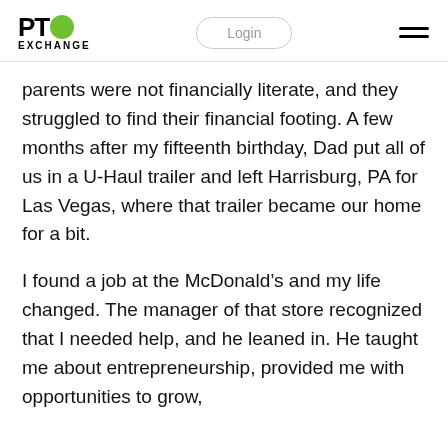PTO EXCHANGE | Login | Menu
parents were not financially literate, and they struggled to find their financial footing. A few months after my fifteenth birthday, Dad put all of us in a U-Haul trailer and left Harrisburg, PA for Las Vegas, where that trailer became our home for a bit.
I found a job at the McDonald’s and my life changed. The manager of that store recognized that I needed help, and he leaned in. He taught me about entrepreneurship, provided me with opportunities to grow,